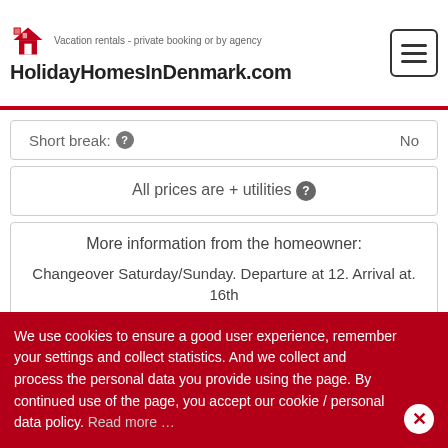HolidayHomesInDenmark.com - Vacation rentals - private booking or by agency
Short break: No
All prices are + utilities
More information from the homeowner:
Changeover Saturday/Sunday. Departure at 12. Arrival at. 16th
Deposit DKK 4000. Electricity, water, heating are not included in the price. Free firewood.
Bed linen, towels, tea towels, cleaning cloths are not available.
We use cookies to ensure a good user experience, remember your settings and collect statistics. And we collect and process the personal data you provide using the page. By continued use of the page, you accept our cookie / personal data policy. Read more …